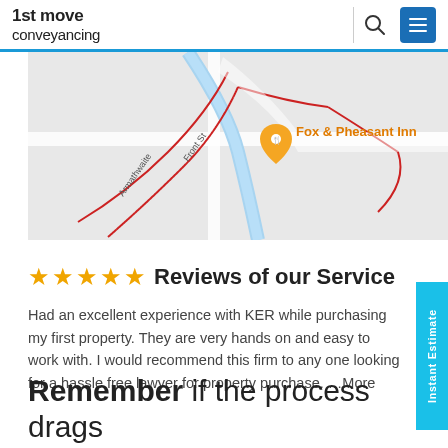1st move conveyancing
[Figure (map): Google Maps view showing Armathwaite area with roads, a river (blue), and a pin marker for 'Fox & Pheasant Inn' labeled in orange. Roads shown include Front St and Armathwaite route with red boundary lines.]
★★★★★ Reviews of our Service
Had an excellent experience with KER while purchasing my first property. They are very hands on and easy to work with. I would recommend this firm to any one looking for a hassle free lawyer for property purchase. …More
Remember if the process drags